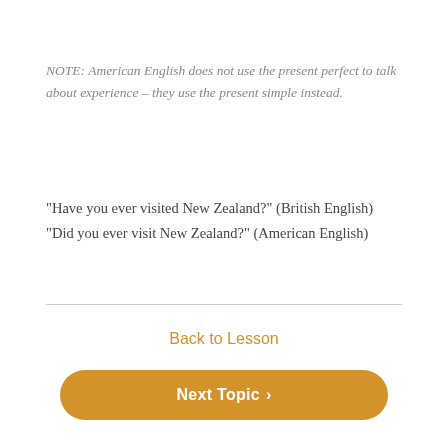NOTE: American English does not use the present perfect to talk about experience – they use the present simple instead.
“Have you ever visited New Zealand?” (British English)
“Did you ever visit New Zealand?” (American English)
Back to Lesson
Next Topic